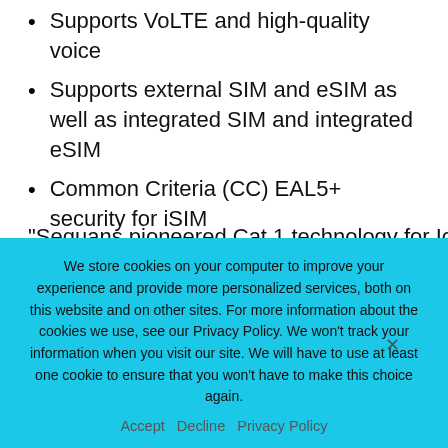Supports VoLTE and high-quality voice
Supports external SIM and eSIM as well as integrated SIM and integrated eSIM
Common Criteria (CC) EAL5+ security for iSIM
Compatible with Sequans Monarch 2 LTE-M/NB-IoT platform for easy migration among Cat 1, LTE-M, Cat NB1/NB2
“Sequans pioneered Cat 1 technology for IoT and
We store cookies on your computer to improve your experience and provide more personalized services, both on this website and on other sites. For more information about the cookies we use, see our Privacy Policy. We won’t track your information when you visit our site. We will have to use at least one cookie to ensure that you won’t have to make this choice again.
Accept   Decline   Privacy Policy